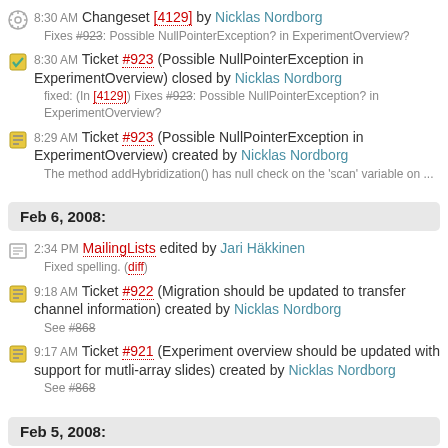8:30 AM Changeset [4129] by Nicklas Nordborg
Fixes #923: Possible NullPointerException? in ExperimentOverview?
8:30 AM Ticket #923 (Possible NullPointerException in ExperimentOverview) closed by Nicklas Nordborg
fixed: (In [4129]) Fixes #923: Possible NullPointerException? in ExperimentOverview?
8:29 AM Ticket #923 (Possible NullPointerException in ExperimentOverview) created by Nicklas Nordborg
The method addHybridization() has null check on the 'scan' variable on ...
Feb 6, 2008:
2:34 PM MailingLists edited by Jari Häkkinen
Fixed spelling. (diff)
9:18 AM Ticket #922 (Migration should be updated to transfer channel information) created by Nicklas Nordborg
See #868
9:17 AM Ticket #921 (Experiment overview should be updated with support for mutli-array slides) created by Nicklas Nordborg
See #868
Feb 5, 2008: